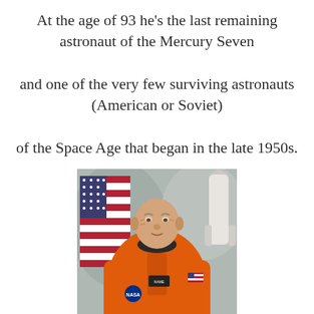At the age of 93 he's the last remaining astronaut of the Mercury Seven

and one of the very few surviving astronauts (American or Soviet)

of the Space Age that began in the late 1950s.
[Figure (photo): Official NASA portrait of an elderly astronaut wearing an orange spacesuit, holding a white helmet, with an American flag and rocket in the background.]